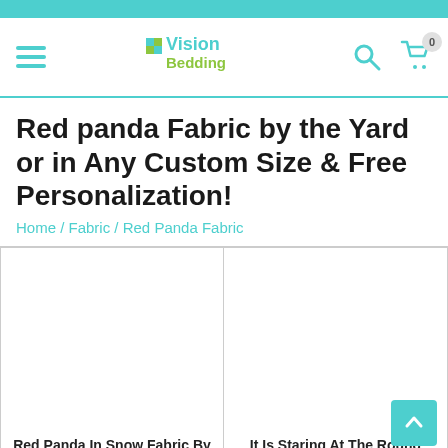Vision Bedding — navigation bar with hamburger menu, logo, search, and cart (0 items)
Red panda Fabric by the Yard or in Any Custom Size & Free Personalization!
Home / Fabric / Red Panda Fabric
[Figure (photo): Product image placeholder for Red Panda In Snow Fabric By The Yard]
Red Panda In Snow Fabric By The Yard
VIEW ALL PRODUCTS
[Figure (photo): Product image placeholder for It Is Staring At The Round Eyes Fabric By The Yard]
It Is Staring At The Round Eyes Fabric By The Yard
VIEW ALL PRODUCTS